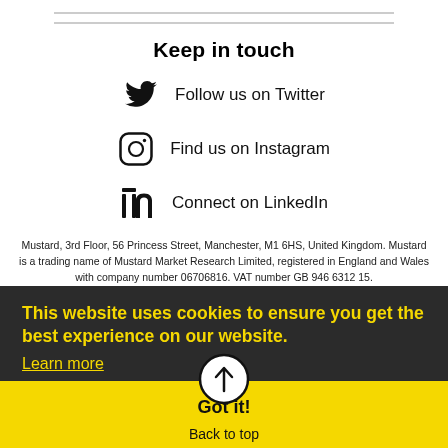Keep in touch
Follow us on Twitter
Find us on Instagram
Connect on LinkedIn
Mustard, 3rd Floor, 56 Princess Street, Manchester, M1 6HS, United Kingdom. Mustard is a trading name of Mustard Market Research Limited, registered in England and Wales with company number 06706816. VAT number GB 946 6312 15.
This website uses cookies to ensure you get the best experience on our website.
Learn more
Got it!
Back to top